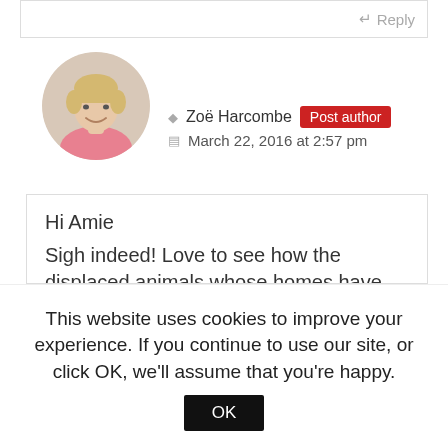Reply
[Figure (photo): Circular avatar photo of a woman with short blonde hair wearing a pink top, smiling]
Zoë Harcombe  Post author
March 22, 2016 at 2:57 pm
Hi Amie
Sigh indeed! Love to see how the displaced animals whose homes have been hacked down for rape fields are getting on!
Many thanks for your other post on the sugar comment back – good on you!
This website uses cookies to improve your experience. If you continue to use our site, or click OK, we'll assume that you're happy.